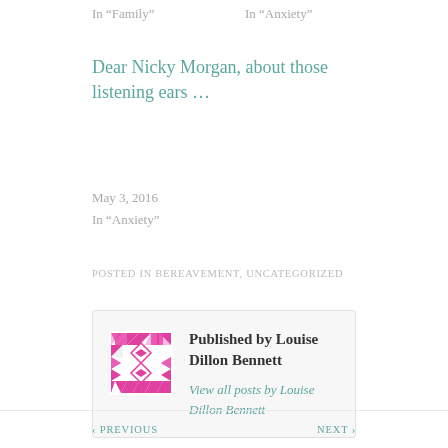In "Family"
In "Anxiety"
Dear Nicky Morgan, about those listening ears …
May 3, 2016
In "Anxiety"
POSTED IN BEREAVEMENT, UNCATEGORIZED
Published by Louise Dillon Bennett
View all posts by Louise Dillon Bennett
‹ PREVIOUS
NEXT ›